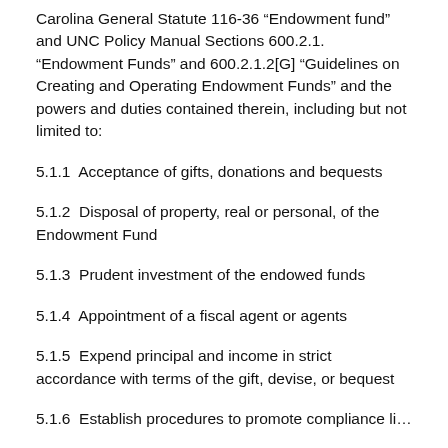Carolina General Statute 116-36 “Endowment fund” and UNC Policy Manual Sections 600.2.1. “Endowment Funds” and 600.2.1.2[G] “Guidelines on Creating and Operating Endowment Funds” and the powers and duties contained therein, including but not limited to:
5.1.1  Acceptance of gifts, donations and bequests
5.1.2  Disposal of property, real or personal, of the Endowment Fund
5.1.3  Prudent investment of the endowed funds
5.1.4  Appointment of a fiscal agent or agents
5.1.5  Expend principal and income in strict accordance with terms of the gift, devise, or bequest
5.1.6  Establish procedures to promote compliance…